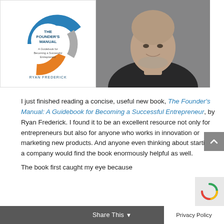[Figure (illustration): Book cover of The Founder's Manual: A Guidebook for Becoming a Successful Entrepreneur by Ryan Frederick, shown alongside a photo of a middle-aged bald man smiling, wearing a dark shirt.]
I just finished reading a concise, useful new book, The Founder's Manual: A Guidebook for Becoming a Successful Entrepreneur, by Ryan Frederick. I found it to be an excellent resource not only for entrepreneurs but also for anyone who works in innovation or marketing new products. And anyone even thinking about starting a company would find the book enormously helpful as well.
The book first caught my eye because
Share This   Privacy Policy